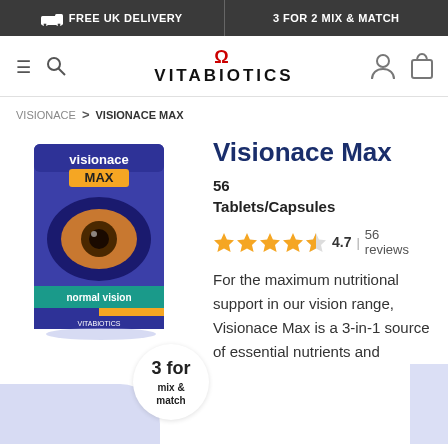FREE UK DELIVERY   3 FOR 2 MIX & MATCH
[Figure (logo): Vitabiotics logo with omega symbol]
VISIONACE > VISIONACE MAX
[Figure (photo): Visionace Max product box showing purple packaging with eye imagery and tablet capsule supplements, with a circular badge overlay reading 3 for mix & match]
Visionace Max
56 Tablets/Capsules
4.7 | 56 reviews
For the maximum nutritional support in our vision range, Visionace Max is a 3-in-1 source of essential nutrients and